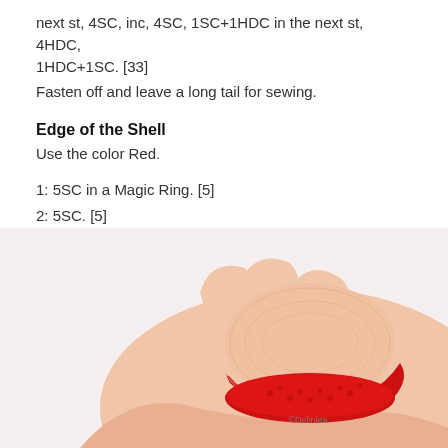next st, 4SC, inc, 4SC, 1SC+1HDC in the next st, 4HDC, 1HDC+1SC. [33]
Fasten off and leave a long tail for sewing.
Edge of the Shell
Use the color Red.
1: 5SC in a Magic Ring. [5]
2: 5SC. [5]
Repeat row 2 until it's long enough to go around the shell. Fasten off and sew the start and end together, into a circle.
[Figure (photo): A hand holding a crocheted item, showing the red shell edge around a peach/skin-colored top, with copyright watermark ©Delinlea]